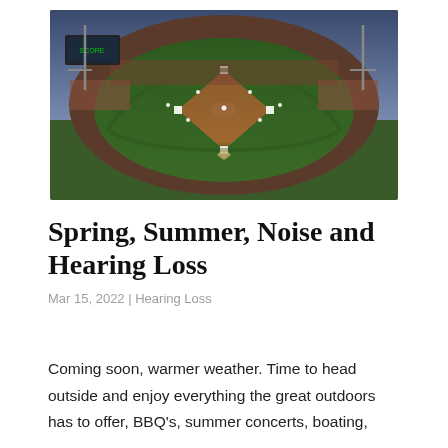[Figure (photo): Aerial view of a packed baseball stadium at dusk, showing the full field with city skyline in the background]
Spring, Summer, Noise and Hearing Loss
Mar 15, 2022 | Hearing Loss
Coming soon, warmer weather. Time to head outside and enjoy everything the great outdoors has to offer, BBQ's, summer concerts, boating,